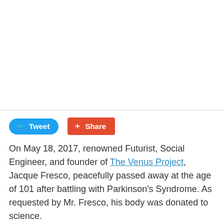[Figure (photo): White/blank image area at top of page]
Tweet  Share
On May 18, 2017, renowned Futurist, Social Engineer, and founder of The Venus Project, Jacque Fresco, peacefully passed away at the age of 101 after battling with Parkinson's Syndrome. As requested by Mr. Fresco, his body was donated to science.
Although saddened by this unfortunate news, he